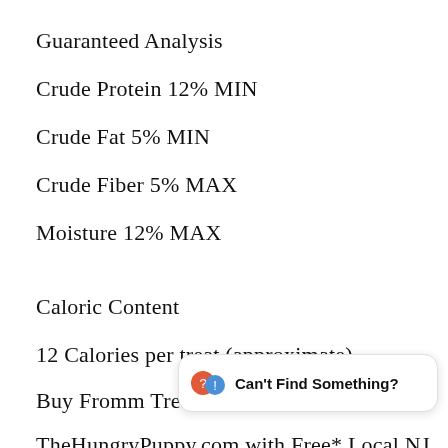Guaranteed Analysis
Crude Protein 12% MIN
Crude Fat 5% MIN
Crude Fiber 5% MAX
Moisture 12% MAX
Caloric Content
12 Calories per treat (approximate)
Buy Fromm Treats 4 Star M
TheHungryPuppy.com with Free* Local NJ Delivery to